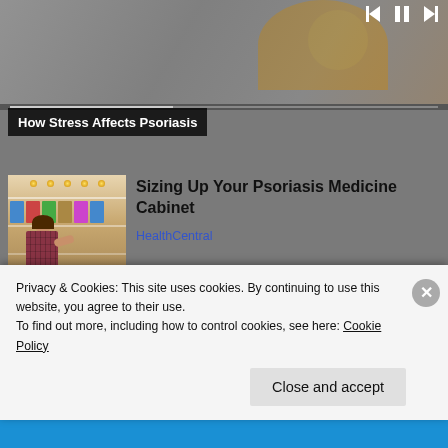[Figure (screenshot): Video thumbnail showing person in yellow top with video playback controls (skip back, pause, skip forward) and progress bar. Caption overlay reads 'How Stress Affects Psoriasis'.]
How Stress Affects Psoriasis
[Figure (photo): Woman shopping in a pharmacy/drugstore aisle, looking at products on shelves.]
Sizing Up Your Psoriasis Medicine Cabinet
HealthCentral
The Best Smart Beds in
Privacy & Cookies: This site uses cookies. By continuing to use this website, you agree to their use.
To find out more, including how to control cookies, see here: Cookie Policy
Close and accept